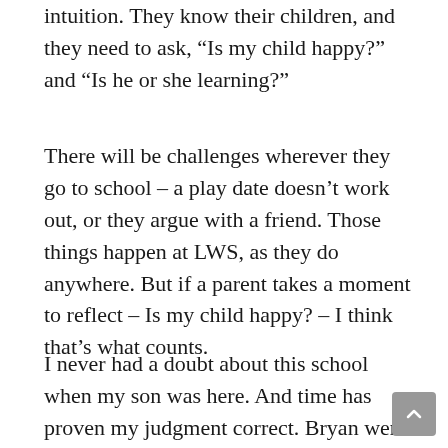intuition. They know their children, and they need to ask, “Is my child happy?” and “Is he or she learning?”
There will be challenges wherever they go to school – a play date doesn’t work out, or they argue with a friend. Those things happen at LWS, as they do anywhere. But if a parent takes a moment to reflect – Is my child happy? – I think that’s what counts.
I never had a doubt about this school when my son was here. And time has proven my judgment correct. Bryan went on to do well in high school and college, and his mother and I know it was the